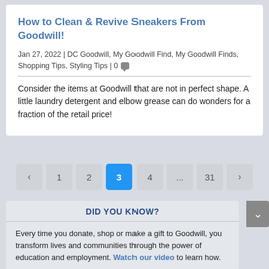How to Clean & Revive Sneakers From Goodwill!
Jan 27, 2022 | DC Goodwill, My Goodwill Find, My Goodwill Finds, Shopping Tips, Styling Tips | 0
Consider the items at Goodwill that are not in perfect shape. A little laundry detergent and elbow grease can do wonders for a fraction of the retail price!
< 1 2 3 4 ... 31 >
DID YOU KNOW?
Every time you donate, shop or make a gift to Goodwill, you transform lives and communities through the power of education and employment. Watch our video to learn how.